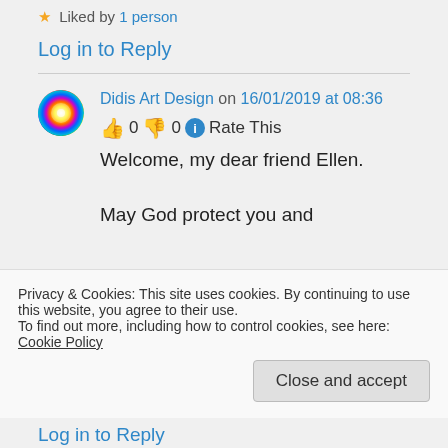★ Liked by 1 person
Log in to Reply
Didis Art Design on 16/01/2019 at 08:36
👍 0 👎 0 ℹ Rate This
Welcome, my dear friend Ellen.
May God protect you and
Privacy & Cookies: This site uses cookies. By continuing to use this website, you agree to their use.
To find out more, including how to control cookies, see here: Cookie Policy
Close and accept
Log in to Reply